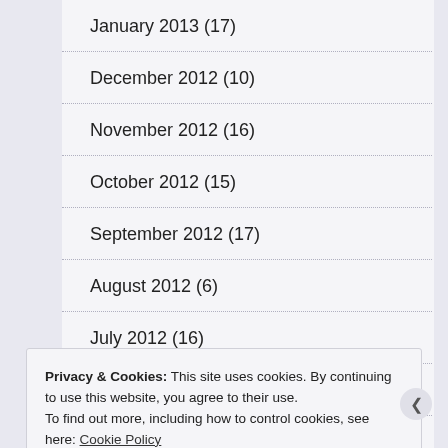January 2013 (17)
December 2012 (10)
November 2012 (16)
October 2012 (15)
September 2012 (17)
August 2012 (6)
July 2012 (16)
June 2012 (20)
May 2012 (27)
Privacy & Cookies: This site uses cookies. By continuing to use this website, you agree to their use.
To find out more, including how to control cookies, see here: Cookie Policy
Close and accept